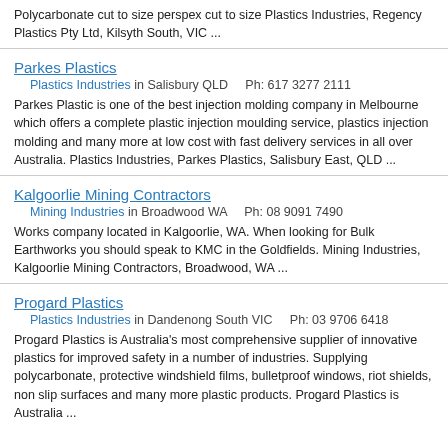Polycarbonate cut to size perspex cut to size Plastics Industries, Regency Plastics Pty Ltd, Kilsyth South, VIC ...
Parkes Plastics
Plastics Industries in Salisbury QLD    Ph: 617 3277 2111
Parkes Plastic is one of the best injection molding company in Melbourne which offers a complete plastic injection moulding service, plastics injection molding and many more at low cost with fast delivery services in all over Australia. Plastics Industries, Parkes Plastics, Salisbury East, QLD ...
Kalgoorlie Mining Contractors
Mining Industries in Broadwood WA    Ph: 08 9091 7490
Works company located in Kalgoorlie, WA. When looking for Bulk Earthworks you should speak to KMC in the Goldfields. Mining Industries, Kalgoorlie Mining Contractors, Broadwood, WA ...
Progard Plastics
Plastics Industries in Dandenong South VIC    Ph: 03 9706 6418
Progard Plastics is Australia's most comprehensive supplier of innovative plastics for improved safety in a number of industries. Supplying polycarbonate, protective windshield films, bulletproof windows, riot shields, non slip surfaces and many more plastic products. Progard Plastics is Australia ...